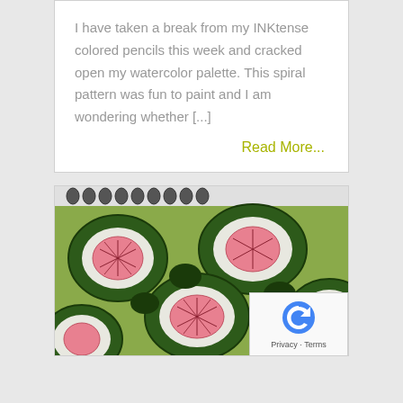I have taken a break from my INKtense colored pencils this week and cracked open my watercolor palette. This spiral pattern was fun to paint and I am wondering whether [...]
Read More...
[Figure (photo): Close-up photo of a sketchbook page showing colored pencil or watercolor artwork with organic shapes featuring white and pink flower-like forms surrounded by dark green textured outlines, resembling cells or coral patterns. A spiral binding is visible at the top.]